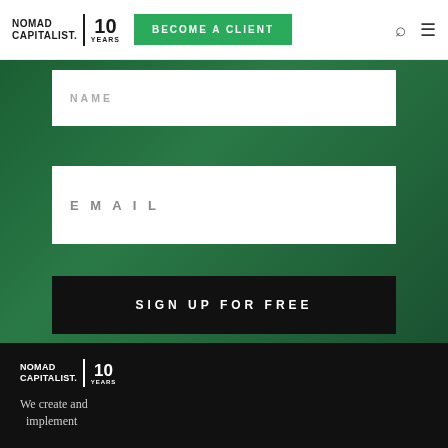[Figure (logo): Nomad Capitalist logo with '10 Years' badge in navigation bar]
BECOME A CLIENT
[Figure (screenshot): Green-tinted hero section with a form containing NAME and EMAIL fields and a SIGN UP FOR FREE button]
EMAIL
SIGN UP FOR FREE
[Figure (logo): Nomad Capitalist footer logo with '10 Years' badge on black background]
We create and implement